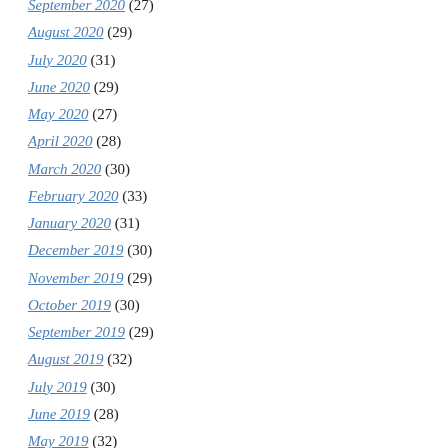September 2020 (27)
August 2020 (29)
July 2020 (31)
June 2020 (29)
May 2020 (27)
April 2020 (28)
March 2020 (30)
February 2020 (33)
January 2020 (31)
December 2019 (30)
November 2019 (29)
October 2019 (30)
September 2019 (29)
August 2019 (32)
July 2019 (30)
June 2019 (28)
May 2019 (32)
April 2019 (27)